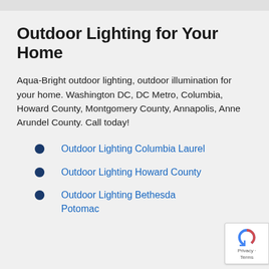Outdoor Lighting for Your Home
Aqua-Bright outdoor lighting, outdoor illumination for your home. Washington DC, DC Metro, Columbia, Howard County, Montgomery County, Annapolis, Anne Arundel County. Call today!
Outdoor Lighting Columbia Laurel
Outdoor Lighting Howard County
Outdoor Lighting Bethesda Potomac